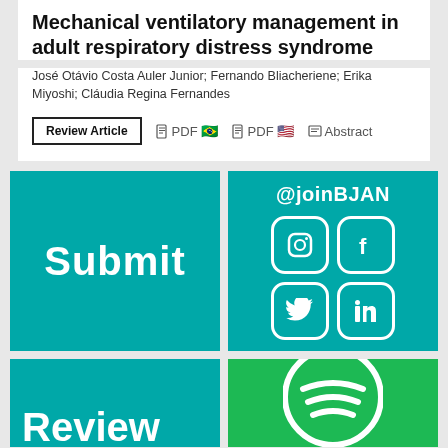Mechanical ventilatory management in adult respiratory distress syndrome
José Otávio Costa Auler Junior; Fernando Bliacheriene; Erika Miyoshi; Cláudia Regina Fernandes
Review Article  PDF 🇧🇷  PDF 🇺🇸  Abstract
[Figure (infographic): Teal box with white bold text 'Submit']
[Figure (infographic): Teal box with '@joinBJAN' and Instagram, Facebook, Twitter, LinkedIn social media icons in white rounded square borders]
[Figure (infographic): Teal box partially showing 'Review' text]
[Figure (infographic): Green Spotify logo partially visible]